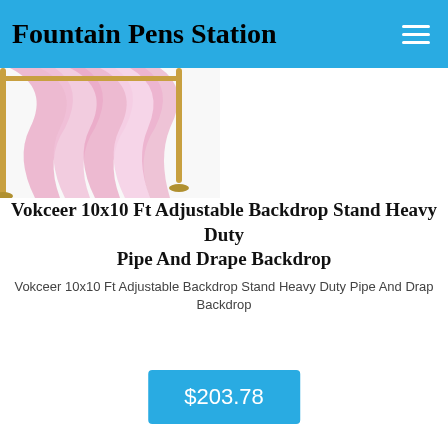Fountain Pens Station
[Figure (photo): Product image showing a pink and white fabric draped on a backdrop stand with gold poles against a white background]
Vokceer 10x10 Ft Adjustable Backdrop Stand Heavy Duty Pipe And Drape Backdrop
Vokceer 10x10 Ft Adjustable Backdrop Stand Heavy Duty Pipe And Drape Backdrop
$203.78